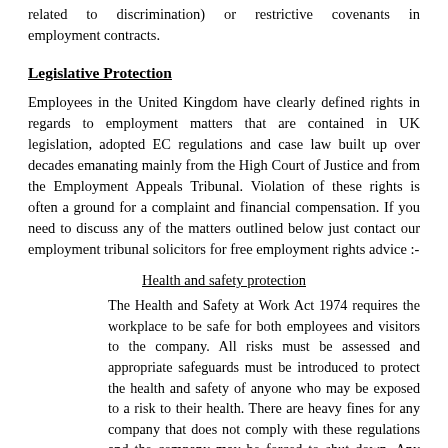related to discrimination) or restrictive covenants in employment contracts.
Legislative Protection
Employees in the United Kingdom have clearly defined rights in regards to employment matters that are contained in UK legislation, adopted EC regulations and case law built up over decades emanating mainly from the High Court of Justice and from the Employment Appeals Tribunal. Violation of these rights is often a ground for a complaint and financial compensation. If you need to discuss any of the matters outlined below just contact our employment tribunal solicitors for free employment rights advice :-
Health and safety protection
The Health and Safety at Work Act 1974 requires the workplace to be safe for both employees and visitors to the company. All risks must be assessed and appropriate safeguards must be introduced to protect the health and safety of anyone who may be exposed to a risk to their health. There are heavy fines for any company that does not comply with these regulations and the company may be forced to shut down. Any employee regularly exposed to hazards should urgently take employment rights advice from a specialist solicitor as they may be